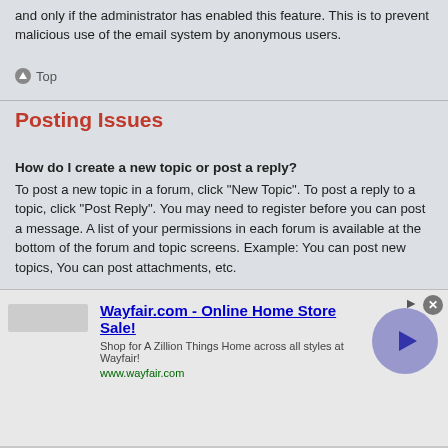and only if the administrator has enabled this feature. This is to prevent malicious use of the email system by anonymous users.
⬆ Top
Posting Issues
How do I create a new topic or post a reply?
To post a new topic in a forum, click "New Topic". To post a reply to a topic, click "Post Reply". You may need to register before you can post a message. A list of your permissions in each forum is available at the bottom of the forum and topic screens. Example: You can post new topics, You can post attachments, etc.
⬆ Top
How do I edit or delete a post?
Unless you are a board administrator or moderator, you can only edit or delete your own posts. You can edit a post by clicking the edit button for the relevant post, sometimes for only a limited time after the post was made. If someone has already replied to the post, you will find a small piece of text output below the
[Figure (screenshot): Advertisement banner for Wayfair.com - Online Home Store Sale! with close button and navigation arrow]